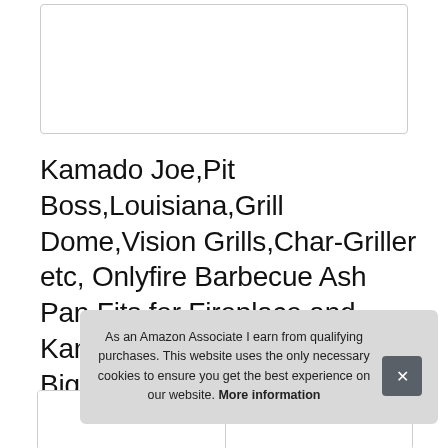[Figure (other): White rectangular image placeholder box with light gray border at top of page]
Kamado Joe,Pit Boss,Louisiana,Grill Dome,Vision Grills,Char-Griller etc, Onlyfire Barbecue Ash Pan Fits for Fireplace and Kamado/Ceramic Grill Likes Big Green Egg
[Figure (other): Product image row showing two partial product images side by side separated by a divider]
As an Amazon Associate I earn from qualifying purchases. This website uses the only necessary cookies to ensure you get the best experience on our website. More information